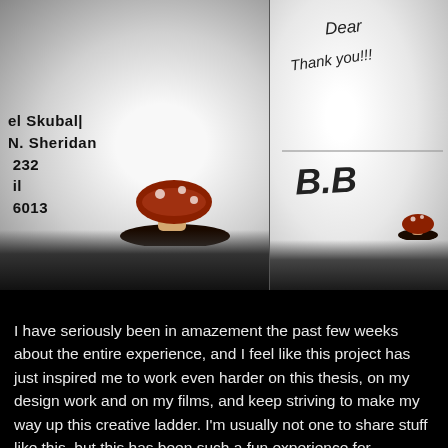[Figure (photo): Two photos of a coffee mug side by side. Left photo shows a white mug with handwritten text 'el Skubal / N. Sheridan / 232 / il / 6013' and a painted mushroom character with a black base. Right photo shows the opposite side of the mug with a handwritten note reading 'Dear / Thank you!!! / B.B' in cursive script.]
I have seriously been in amazement the past few weeks about the entire experience, and I feel like this project has just inspired me to work even harder on this thesis, on my design work and on my films, and keep striving to make my way up this creative ladder. I'm usually not one to share stuff like this, but this has been such a fun experience for